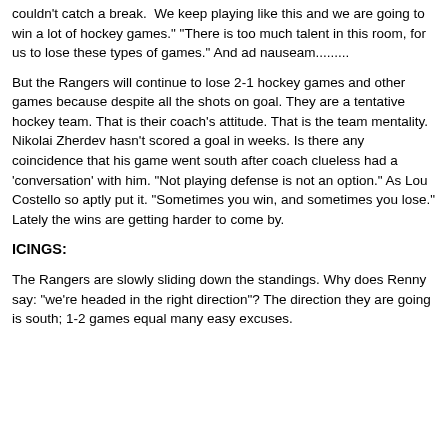couldn't catch a break.  We keep playing like this and we are going to win a lot of hockey games." "There is too much talent in this room, for us to lose these types of games." And ad nauseam.........
But the Rangers will continue to lose 2-1 hockey games and other games because despite all the shots on goal. They are a tentative hockey team. That is their coach's attitude. That is the team mentality. Nikolai Zherdev hasn't scored a goal in weeks. Is there any coincidence that his game went south after coach clueless had a 'conversation' with him. "Not playing defense is not an option." As Lou Costello so aptly put it. "Sometimes you win, and sometimes you lose." Lately the wins are getting harder to come by.
ICINGS:
The Rangers are slowly sliding down the standings. Why does Renny say: "we're headed in the right direction"? The direction they are going is south; 1-2 games equal many easy excuses.